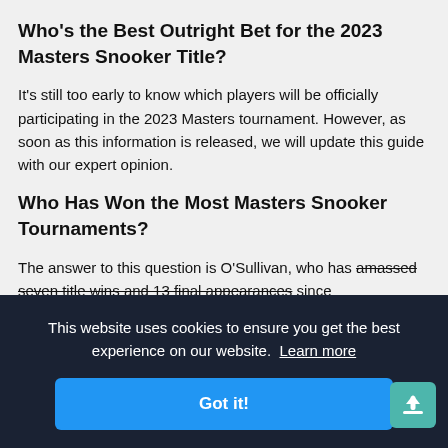Who's the Best Outright Bet for the 2023 Masters Snooker Title?
It's still too early to know which players will be officially participating in the 2023 Masters tournament. However, as soon as this information is released, we will update this guide with our expert opinion.
Who Has Won the Most Masters Snooker Tournaments?
The answer to this question is O'Sullivan, who has amassed seven title wins and 13 final appearances since … total … Selby
This website uses cookies to ensure you get the best experience on our website. Learn more
Got it!